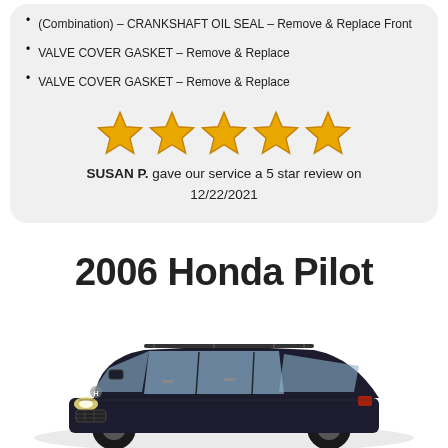(Combination) – CRANKSHAFT OIL SEAL – Remove & Replace Front
VALVE COVER GASKET – Remove & Replace
VALVE COVER GASKET – Remove & Replace
[Figure (infographic): Five gold stars rating graphic]
SUSAN P. gave our service a 5 star review on 12/22/2021
2006 Honda Pilot
[Figure (photo): Photo of a dark-colored 2006 Honda Pilot SUV facing slightly left, front 3/4 view]